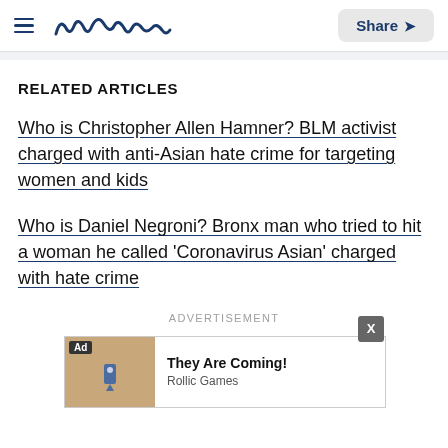Meaww | Share
RELATED ARTICLES
Who is Christopher Allen Hamner? BLM activist charged with anti-Asian hate crime for targeting women and kids
Who is Daniel Negroni? Bronx man who tried to hit a woman he called 'Coronavirus Asian' charged with hate crime
ADVERTISEMENT
[Figure (other): Advertisement banner showing 'They Are Coming!' by Rollic Games with an Ad badge and an X close button]